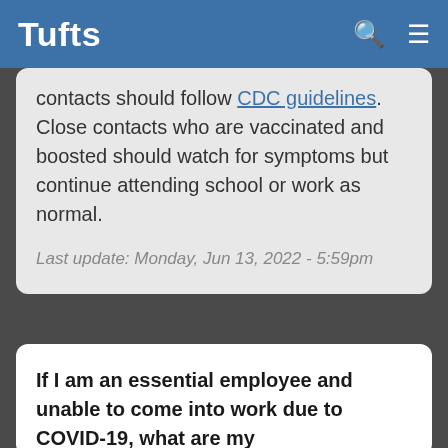Tufts
contacts should follow CDC guidelines. Close contacts who are vaccinated and boosted should watch for symptoms but continue attending school or work as normal.
Last update: Monday, Jun 13, 2022 - 5:59pm
If I am an essential employee and unable to come into work due to COVID-19, what are my